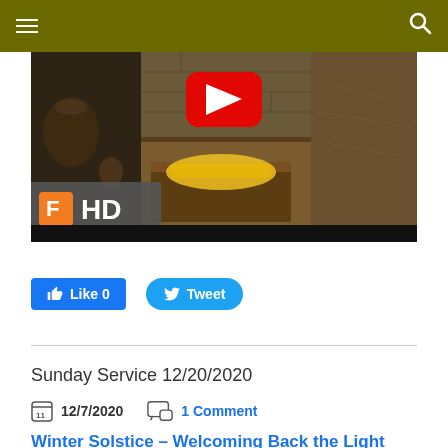Navigation header with hamburger menu and search icon
[Figure (screenshot): YouTube video thumbnail showing a manger/nativity scene with glowing straw, with a YouTube play button overlay and Filmora HD watermark in the lower left corner]
[Figure (screenshot): Facebook Like button showing 'Like 0' and Twitter Tweet button]
Sunday Service 12/20/2020
12/7/2020   1 Comment
Winter Solstice – Welcoming Back the Light